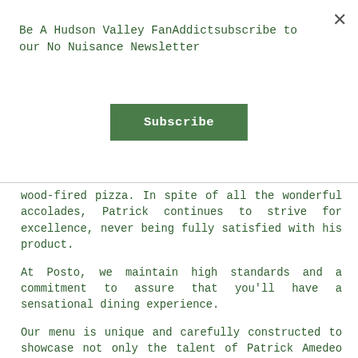Be A Hudson Valley FanAddictsubscribe to our No Nuisance Newsletter
Subscribe
wood-fired pizza. In spite of all the wonderful accolades, Patrick continues to strive for excellence, never being fully satisfied with his product.
At Posto, we maintain high standards and a commitment to assure that you’ll have a sensational dining experience.
Our menu is unique and carefully constructed to showcase not only the talent of Patrick Amedeo but the love for his craft. Let Posto take you on a journey that will uplift your spirit and engage your senses.